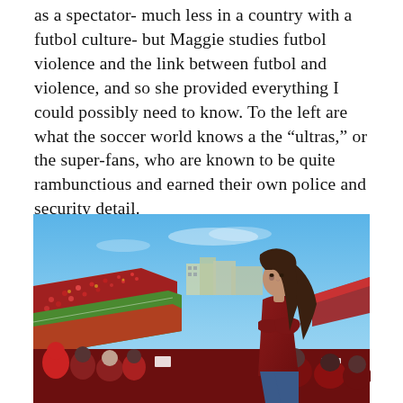as a spectator- much less in a country with a futbol culture- but Maggie studies futbol violence and the link between futbol and violence, and so she provided everything I could possibly need to know. To the left are what the soccer world knows a the “ultras,” or the super-fans, who are known to be quite rambunctious and earned their own police and security detail.
[Figure (photo): A young woman in a dark red shirt stands in a packed soccer stadium, looking out over the crowd. The stadium is full of fans wearing red. Blue sky and buildings visible in the background.]